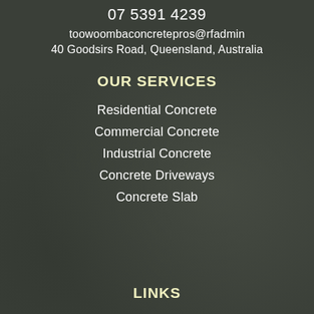07 5391 4239
toowoombaconcretepros@rfadmin
40 Goodsirs Road, Queensland, Australia
OUR SERVICES
Residential Concrete
Commercial Concrete
Industrial Concrete
Concrete Driveways
Concrete Slab
LINKS